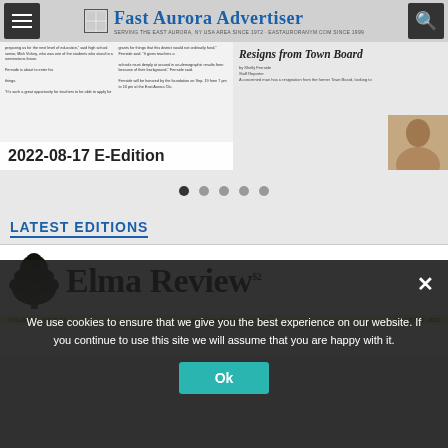Fast Aurora Advertiser - SERVING THE EAST AURORA, NY USA AREA SINCE 1972 - EASTAURORANYM.COM SINCE 1999
[Figure (screenshot): Newspaper page preview showing 2022-08-17 E-Edition of East Aurora Advertiser with headline 'Resigns from Town Board']
2022-08-17 E-Edition
[Figure (other): Carousel navigation dots, 5 dots with first one active (filled black)]
LATEST EDITIONS
[Figure (screenshot): Elma Review newspaper masthead showing large tree illustration and 'ELMA REVIEW' title with $2 price. Footer bar reads: VOLUME 44, ISSUE 33 | Hometown Paper of Amity Elma | AUGUST 10, 2022]
We use cookies to ensure that we give you the best experience on our website. If you continue to use this site we will assume that you are happy with it.
Ok